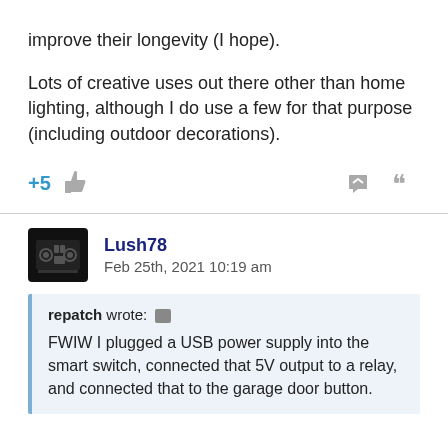improve their longevity (I hope).
Lots of creative uses out there other than home lighting, although I do use a few for that purpose (including outdoor decorations).
+5
Lush78
Feb 25th, 2021 10:19 am
repatch wrote:
FWIW I plugged a USB power supply into the smart switch, connected that 5V output to a relay, and connected that to the garage door button.